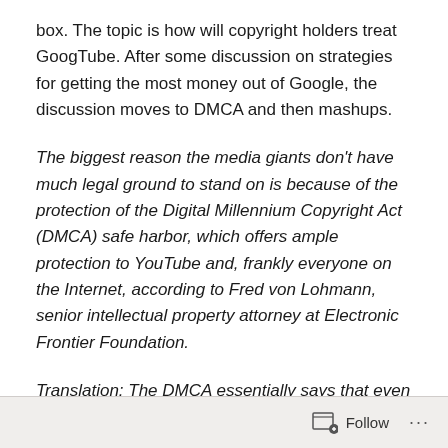box. The topic is how will copyright holders treat GoogTube. After some discussion on strategies for getting the most money out of Google, the discussion moves to DMCA and then mashups.
The biggest reason the media giants don't have much legal ground to stand on is because of the protection of the Digital Millennium Copyright Act (DMCA) safe harbor, which offers ample protection to YouTube and, frankly everyone on the Internet, according to Fred von Lohmann, senior intellectual property attorney at Electronic Frontier Foundation.
Translation: The DMCA essentially says that even if a company is infringing, they get a free pass.
Follow ···